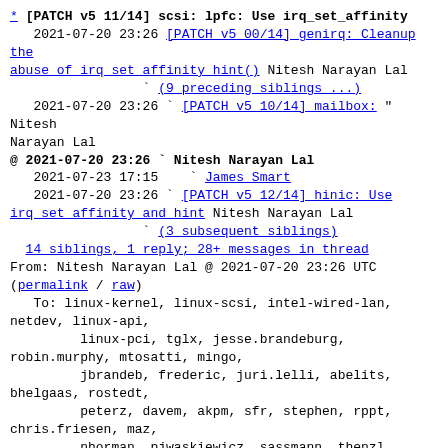* [PATCH v5 11/14] scsi: lpfc: Use irq_set_affinity
   2021-07-20 23:26 [PATCH v5 00/14] genirq: Cleanup the abuse of irq set affinity hint() Nitesh Narayan Lal
                 ` (9 preceding siblings ...)
   2021-07-20 23:26 ` [PATCH v5 10/14] mailbox: " Nitesh Narayan Lal
@ 2021-07-20 23:26 ` Nitesh Narayan Lal
   2021-07-23 17:15   ` James Smart
   2021-07-20 23:26 ` [PATCH v5 12/14] hinic: Use irq set affinity and hint Nitesh Narayan Lal
                 ` (3 subsequent siblings)
  14 siblings, 1 reply; 28+ messages in thread
From: Nitesh Narayan Lal @ 2021-07-20 23:26 UTC
(permalink / raw)
   To: linux-kernel, linux-scsi, intel-wired-lan,
netdev, linux-api,
         linux-pci, tglx, jesse.brandeburg,
robin.murphy, mtosatti, mingo,
         jbrandeb, frederic, juri.lelli, abelits,
bhelgaas, rostedt,
         peterz, davem, akpm, sfr, stephen, rppt,
chris.friesen, maz,
         nhorman, pjwaskiewicz, sassmann, thenzl,
kashyap.desai,
         sumit.saxena, shivasharan.srikanteshwara,
sathya.prakash,
         sreekanth.reddy, suganath-prabu.subramani,
james.smart,